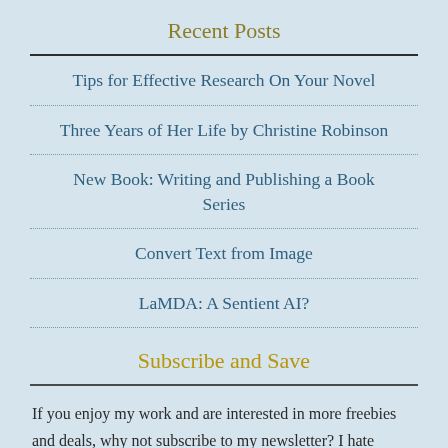Recent Posts
Tips for Effective Research On Your Novel
Three Years of Her Life by Christine Robinson
New Book: Writing and Publishing a Book Series
Convert Text from Image
LaMDA: A Sentient AI?
Subscribe and Save
If you enjoy my work and are interested in more freebies and deals, why not subscribe to my newsletter? I hate